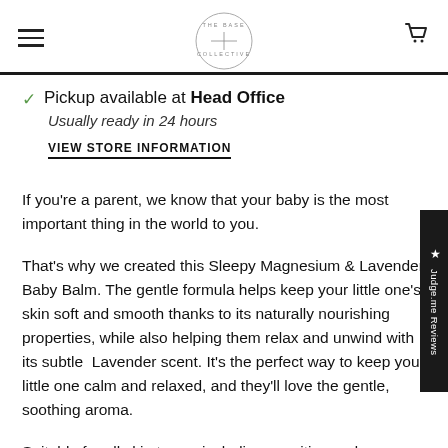The Base Collective
Pickup available at Head Office
Usually ready in 24 hours
VIEW STORE INFORMATION
If you're a parent, we know that your baby is the most important thing in the world to you.
That's why we created this Sleepy Magnesium & Lavender Baby Balm. The gentle formula helps keep your little one's skin soft and smooth thanks to its naturally nourishing properties, while also helping them relax and unwind with its subtle Lavender scent. It's the perfect way to keep your little one calm and relaxed, and they'll love the gentle, soothing aroma.
Suitable for all skin types, including sensitive and eczema-prone.